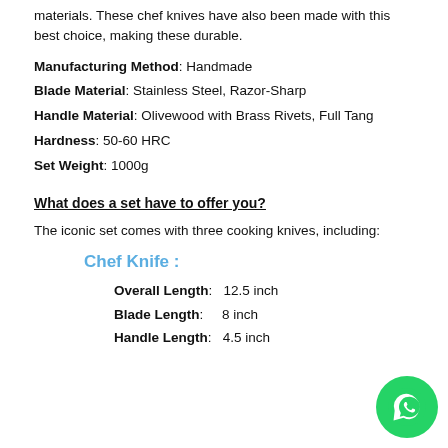materials. These chef knives have also been made with this best choice, making these durable.
Manufacturing Method: Handmade
Blade Material: Stainless Steel, Razor-Sharp
Handle Material: Olivewood with Brass Rivets, Full Tang
Hardness: 50-60 HRC
Set Weight: 1000g
What does a set have to offer you?
The iconic set comes with three cooking knives, including:
Chef Knife :
Overall Length:   12.5 inch
Blade Length:     8 inch
Handle Length:   4.5 inch